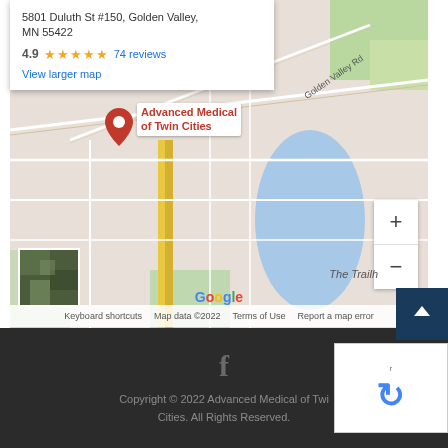[Figure (map): Google Maps embed showing location of Advanced Medical of Twin Cities at 5801 Duluth St #150, Golden Valley, MN 55422. Rating 4.9 stars with 74 reviews. Map shows streets, water bodies, and a pin marker with business label.]
Copyright © 2022 Advanced Medical of Twin Cities. All Rights Reserved.